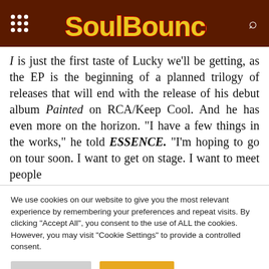SoulBounce
I is just the first taste of Lucky we'll be getting, as the EP is the beginning of a planned trilogy of releases that will end with the release of his debut album Painted on RCA/Keep Cool. And he has even more on the horizon. “I have a few things in the works,” he told ESSENCE. “I’m hoping to go on tour soon. I want to get on stage. I want to meet people
We use cookies on our website to give you the most relevant experience by remembering your preferences and repeat visits. By clicking “Accept All”, you consent to the use of ALL the cookies. However, you may visit “Cookie Settings” to provide a controlled consent.